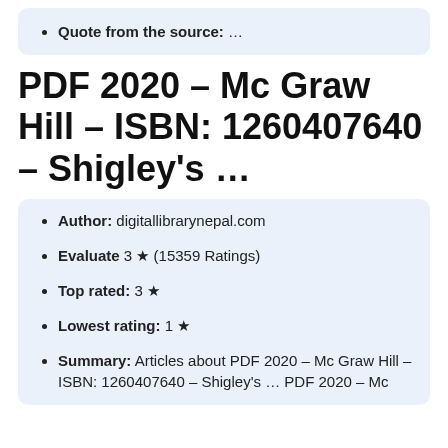Quote from the source: …
PDF 2020 – Mc Graw Hill – ISBN: 1260407640 – Shigley's …
Author: digitallibrarynepal.com
Evaluate 3 ★ (15359 Ratings)
Top rated: 3 ★
Lowest rating: 1 ★
Summary: Articles about PDF 2020 – Mc Graw Hill – ISBN: 1260407640 – Shigley's … PDF 2020 – Mc